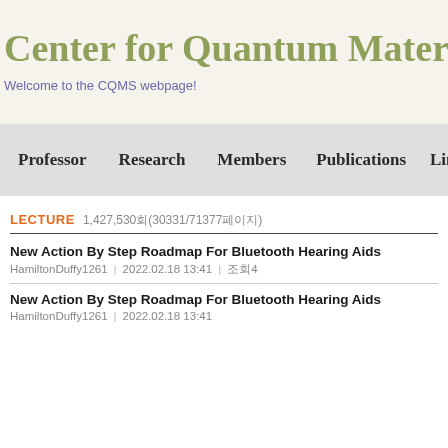Center for Quantum Materials
Welcome to the CQMS webpage!
Professor | Research | Members | Publications | Links
LECTURE  1,427,530회(30331/71377페이지)
New Action By Step Roadmap For Bluetooth Hearing Aids
HamiltonDuffy1261  |  2022.02.18 13:41  |  조회4
New Action By Step Roadmap For Bluetooth Hearing Aids
HamiltonDuffy1261  |  2022.02.18 13:41  |  조회4